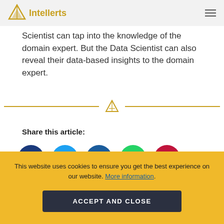Intellerts
Scientist can tap into the knowledge of the domain expert. But the Data Scientist can also reveal their data-based insights to the domain expert.
Share this article:
[Figure (infographic): Five social media share buttons: Facebook (dark blue), Twitter (light blue), LinkedIn (medium blue), WhatsApp (green), Pinterest (red)]
This website uses cookies to ensure you get the best experience on our website. More information.
ACCEPT AND CLOSE